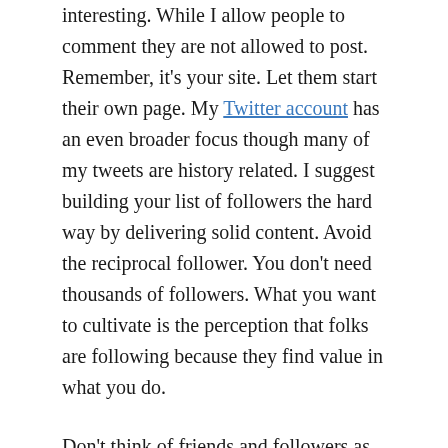interesting. While I allow people to comment they are not allowed to post. Remember, it's your site. Let them start their own page. My Twitter account has an even broader focus though many of my tweets are history related. I suggest building your list of followers the hard way by delivering solid content. Avoid the reciprocal follower. You don't need thousands of followers. What you want to cultivate is the perception that folks are following because they find value in what you do.
Don't think of friends and followers as community; rather, think of them as your audience. Like any audience you need to work to keep their attention. In most cases I think it is better to inform people that you have set up a FB page for your product rather than ask them to like it right off the back. Show me why I should take a seat.